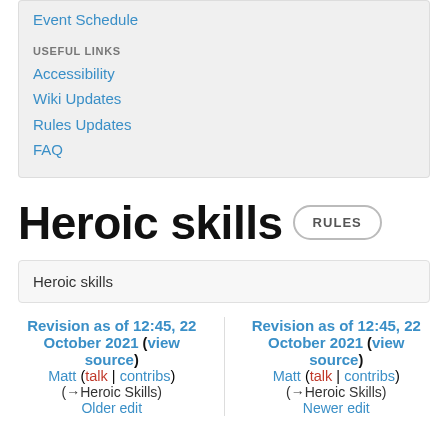Event Schedule
USEFUL LINKS
Accessibility
Wiki Updates
Rules Updates
FAQ
Heroic skills
RULES
Heroic skills
Revision as of 12:45, 22 October 2021 (view source)
Matt (talk | contribs)
(→Heroic Skills)
Older edit
Revision as of 12:45, 22 October 2021 (view source)
Matt (talk | contribs)
(→Heroic Skills)
Newer edit